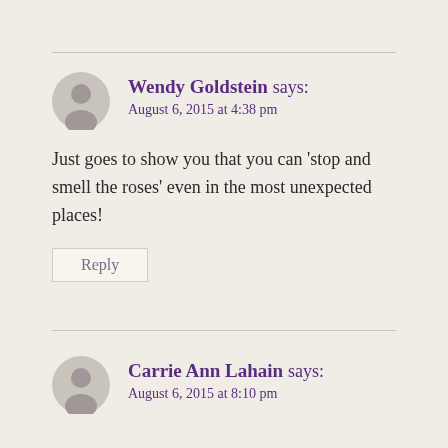Wendy Goldstein says:
August 6, 2015 at 4:38 pm
Just goes to show you that you can 'stop and smell the roses' even in the most unexpected places!
Reply
Carrie Ann Lahain says:
August 6, 2015 at 8:10 pm